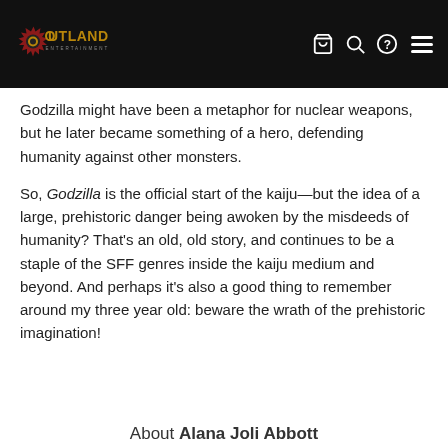[Figure (logo): Outland Entertainment logo with stylized sun/gear icon and text, plus navigation icons (cart, search, help, menu)]
Godzilla might have been a metaphor for nuclear weapons, but he later became something of a hero, defending humanity against other monsters.
So, Godzilla is the official start of the kaiju—but the idea of a large, prehistoric danger being awoken by the misdeeds of humanity? That's an old, old story, and continues to be a staple of the SFF genres inside the kaiju medium and beyond. And perhaps it's also a good thing to remember around my three year old: beware the wrath of the prehistoric imagination!
About Alana Joli Abbott